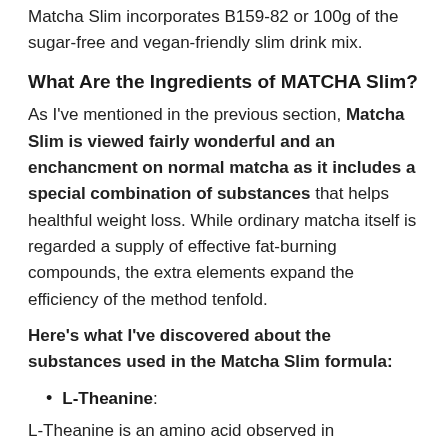Matcha Slim incorporates B159-82 or 100g of the sugar-free and vegan-friendly slim drink mix.
What Are the Ingredients of MATCHA Slim?
As I've mentioned in the previous section, Matcha Slim is viewed fairly wonderful and an enchancment on normal matcha as it includes a special combination of substances that helps healthful weight loss. While ordinary matcha itself is regarded a supply of effective fat-burning compounds, the extra elements expand the efficiency of the method tenfold.
Here's what I've discovered about the substances used in the Matcha Slim formula:
L-Theanine:
L-Theanine is an amino acid observed in inexperienced tea ranges that gives it its umami flavor. Research research have cautioned that it can assist enhance